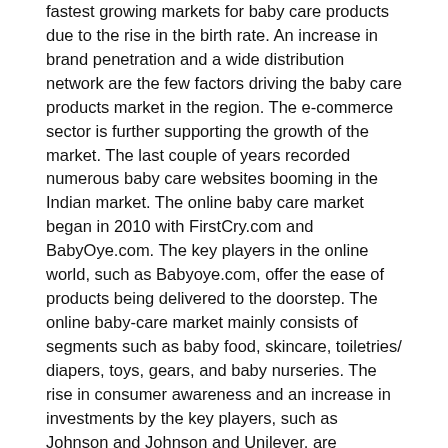fastest growing markets for baby care products due to the rise in the birth rate. An increase in brand penetration and a wide distribution network are the few factors driving the baby care products market in the region. The e-commerce sector is further supporting the growth of the market. The last couple of years recorded numerous baby care websites booming in the Indian market. The online baby care market began in 2010 with FirstCry.com and BabyOye.com. The key players in the online world, such as Babyoye.com, offer the ease of products being delivered to the doorstep. The online baby-care market mainly consists of segments such as baby food, skincare, toiletries/diapers, toys, gears, and baby nurseries. The rise in consumer awareness and an increase in investments by the key players, such as Johnson and Johnson and Unilever, are expected to drive the market in Asia.
Competitive Landscape
Leading manufacturers in the baby care product market focus on leveraging opportunities posed by the emerging markets of Asia-Pacific to expand their consumer base. Key players are investing